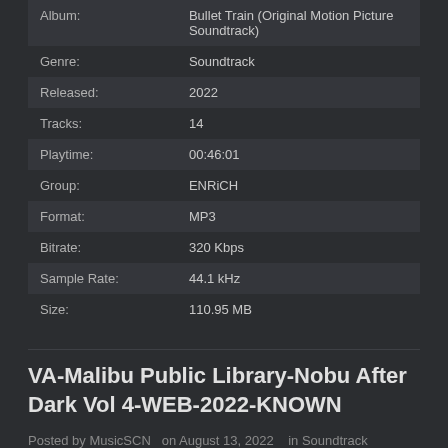| Album: | Bullet Train (Original Motion Picture Soundtrack) |
| Genre: | Soundtrack |
| Released: | 2022 |
| Tracks: | 14 |
| Playtime: | 00:46:01 |
| Group: | ENRiCH |
| Format: | MP3 |
| Bitrate: | 320 Kbps |
| Sample Rate: | 44.1 kHz |
| Size: | 110.95 MB |
VA-Malibu Public Library-Nobu After Dark Vol 4-WEB-2022-KNOWN
Posted by MusicSCN  on August 13, 2022   in Soundtrack